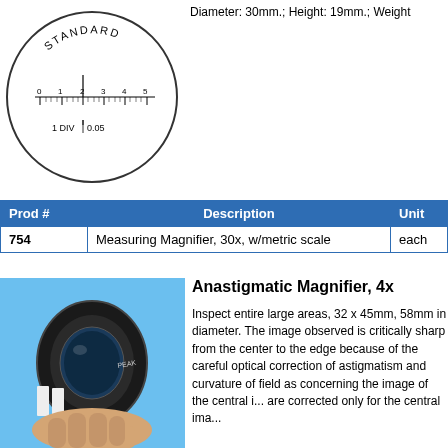[Figure (illustration): Circular reticle/scale diagram labeled STANDARD with a ruler scale from 0 to 5 and markings '1 DIV | 0.05']
Diameter: 30mm.; Height: 19mm.; Weight
| Prod # | Description | Unit |
| --- | --- | --- |
| 754 | Measuring Magnifier, 30x, w/metric scale | each |
[Figure (photo): Photo of a black cylindrical Anastigmatic Magnifier (PEAK brand) held in a hand against a blue background]
Anastigmatic Magnifier, 4x
Inspect entire large areas, 32 x 45mm, 58mm in diameter. The image observed is critically sharp from the center to the edge because of the careful optical correction of astigmatism and curvature of field as concerning the image of the central i... are corrected only for the central ima...